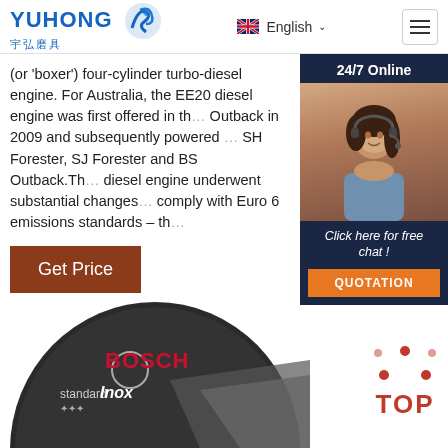YUHONG 宇弘磨具 | English
(or 'boxer') four-cylinder turbo-diesel engine. For Australia, the EE20 diesel engine was first offered in the Outback in 2009 and subsequently powered the SH Forester, SJ Forester and BS Outback. The diesel engine underwent substantial changes to comply with Euro 6 emissions standards – th ...
[Figure (infographic): 24/7 Online chat widget with customer service representative photo and QUOTATION button]
Get Price
[Figure (photo): Bosch Standard for Inox cutting disc grinding wheel]
[Figure (logo): TOP badge with red dots arranged in triangle and TOP text]